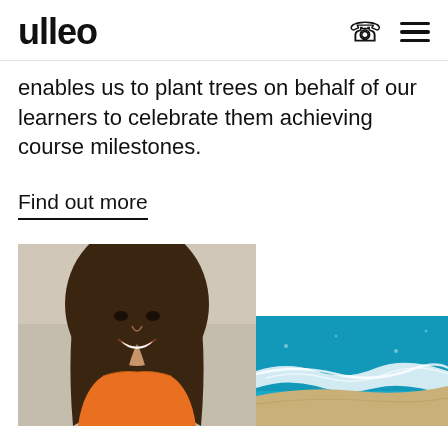ulleo
enables us to plant trees on behalf of our learners to celebrate them achieving course milestones.
Find out more
[Figure (photo): Smiling young woman with long brown hair wearing an orange top, photographed indoors]
[Figure (photo): Aerial view of turquoise ocean waves meeting a sandy beach shoreline]